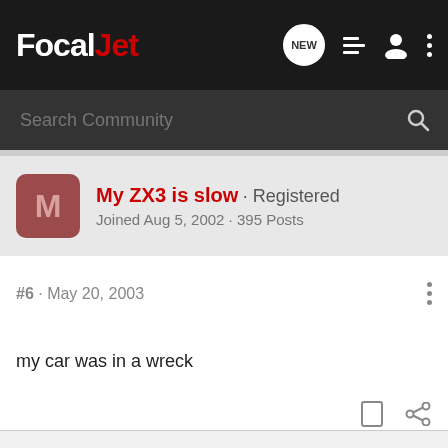FocalJet
Search Community
My ZX3 is slow · Registered
Joined Aug 5, 2002 · 395 Posts
#6 · May 20, 2003
my car was in a wreck